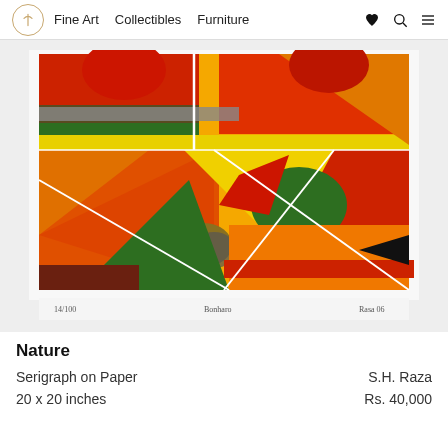Fine Art   Collectibles   Furniture
[Figure (photo): Abstract serigraph artwork titled 'Nature' by S.H. Raza showing geometric shapes in red, orange, yellow, green, black, and brown on paper. Numbered 14/100 with artist signature 'Raza 06'.]
Nature
Serigraph on Paper
20 x 20 inches
S.H. Raza
Rs. 40,000